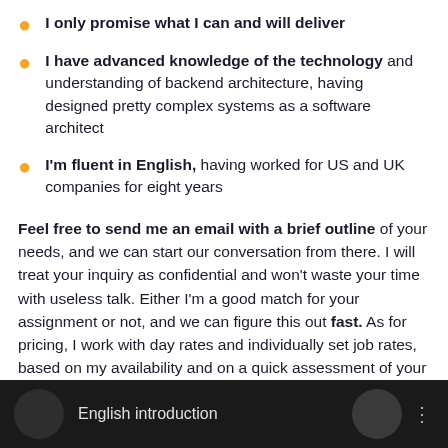I only promise what I can and will deliver
I have advanced knowledge of the technology and understanding of backend architecture, having designed pretty complex systems as a software architect
I'm fluent in English, having worked for US and UK companies for eight years
Feel free to send me an email with a brief outline of your needs, and we can start our conversation from there. I will treat your inquiry as confidential and won't waste your time with useless talk. Either I'm a good match for your assignment or not, and we can figure this out fast. As for pricing, I work with day rates and individually set job rates, based on my availability and on a quick assessment of your project and its specifics.
[Figure (screenshot): Video thumbnail with dark background showing a person and the label 'English introduction']